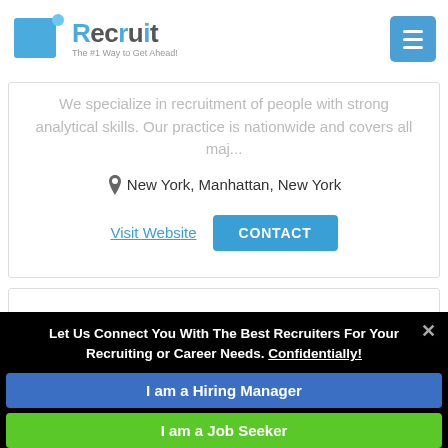Recruit – The #1 Way to Get Ahead!
We specialize in recruitment of people with strong analytical skills. Our practice is nationwide and covers all maj...
📍 New York, Manhattan, New York
Visit Website  CONTACT
Let Us Connect You With The Best Recruiters For Your Recruiting or Career Needs. Confidentially!
I am a Hiring Manager
I am a Job Seeker